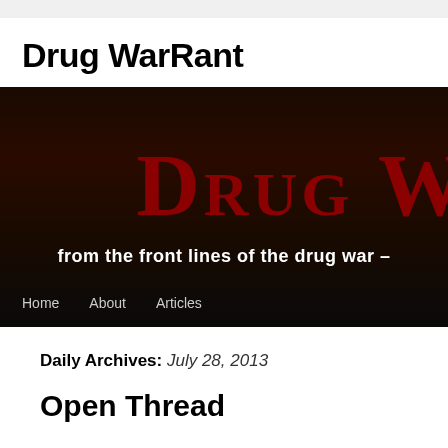Drug WarRant
[Figure (screenshot): Dark banner image for Drug WarRant blog with large red 'Drug W' text (small caps) on dark brown/black gradient background, subtitle text 'from the front lines of the drug war –' in white bold, and navigation links Home, About, Articles at the bottom]
Daily Archives: July 28, 2013
Open Thread